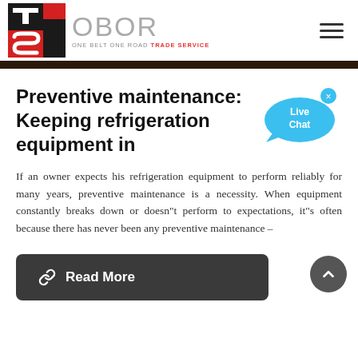[Figure (logo): OBOR Trade Service logo with TS icon in red and black, and text 'OBOR ONE BELT ONE ROAD TRADE SERVICE']
Preventive maintenance: Keeping refrigeration equipment in
If an owner expects his refrigeration equipment to perform reliably for many years, preventive maintenance is a necessity. When equipment constantly breaks down or doesn"t perform to expectations, it"s often because there has never been any preventive maintenance –
Read More